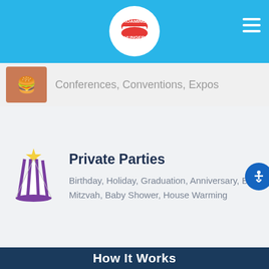Roaming Hunger
Conferences, Conventions, Expos
Private Parties
Birthday, Holiday, Graduation, Anniversary, Bar-Mitzvah, Baby Shower, House Warming
How It Works